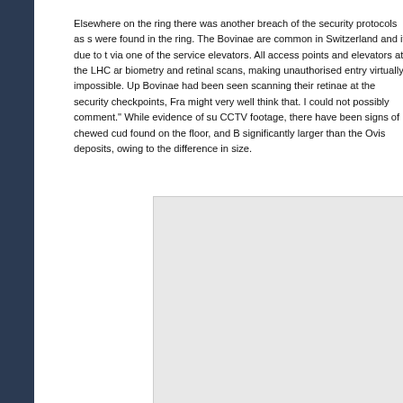Elsewhere on the ring there was another breach of the security protocols as s were found in the ring. The Bovinae are common in Switzerland and it due to t via one of the service elevators. All access points and elevators at the LHC ar biometry and retinal scans, making unauthorised entry virtually impossible. Up Bovinae had been seen scanning their retinae at the security checkpoints, Fra might very well think that. I could not possibly comment." While evidence of su CCTV footage, there have been signs of chewed cud found on the floor, and B significantly larger than the Ovis deposits, owing to the difference in size.
[Figure (other): A light grey rectangular image placeholder area]